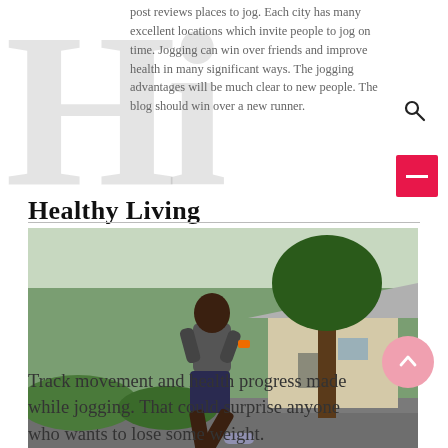post reviews places to jog. Each city has many excellent locations which invite people to jog on time. Jogging can win over friends and improve health in many significant ways. The jogging advantages will be much clear to new people. The blog should win over a new runner.
Healthy Living
[Figure (photo): A man in a grey t-shirt and dark shorts jogging on a street with green trees and a house in the background.]
Track movement and health progress made while jogging. That could surprise anyone who wants to lose some weight.